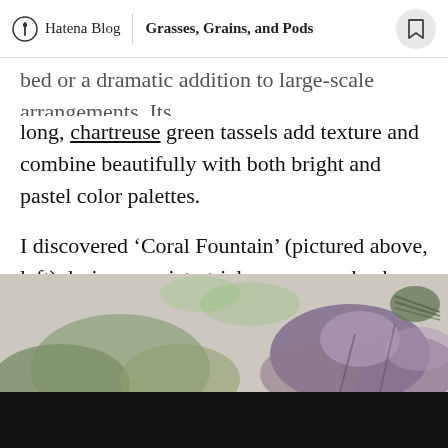Hatena Blog | Grasses, Grains, and Pods
bed or a dramatic addition to large-scale arrangements. Its long, chartreuse green tassels add texture and combine beautifully with both bright and pastel color palettes.
I discovered ‘Coral Fountain’ (pictured above, left) during a variety trial some years back and fell madly in love with it. The pendulous blooms are the most exquisite shade of dusty pink that resembles sun-faded velvet. It is perfect for dramatic, large-scale arrangements.
[Figure (photo): A floral arrangement photograph showing pink and purple flowers and foliage, partially visible at the bottom of the page.]